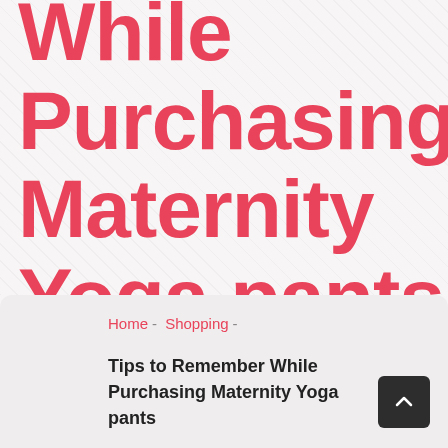While Purchasing Maternity Yoga pants
Home - Shopping -
Tips to Remember While Purchasing Maternity Yoga pants